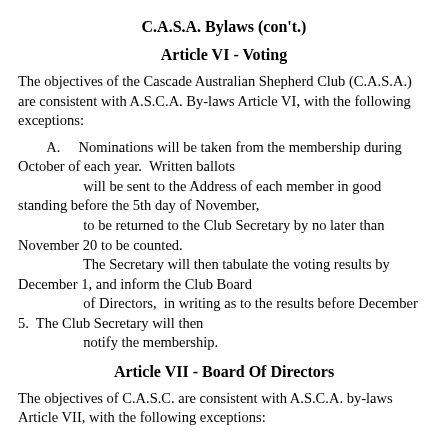C.A.S.A. Bylaws (con't.)
Article VI - Voting
The objectives of the Cascade Australian Shepherd Club (C.A.S.A.) are consistent with A.S.C.A. By-laws Article VI, with the following exceptions:
A.    Nominations will be taken from the membership during October of each year.  Written ballots
                  will be sent to the Address of each member in good standing before the 5th day of November,
                  to be returned to the Club Secretary by no later than November 20 to be counted.
                  The Secretary will then tabulate the voting results by December 1, and inform the Club Board
                  of Directors,  in writing as to the results before December 5.  The Club Secretary will then
                  notify the membership.
Article VII - Board Of Directors
The objectives of C.A.S.C. are consistent with A.S.C.A. by-laws Article VII, with the following exceptions: